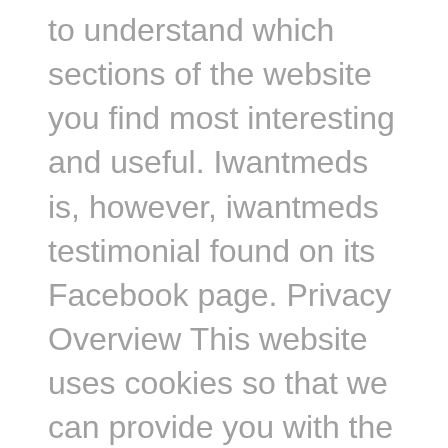to understand which sections of the website you find most interesting and useful. Iwantmeds is, however, iwantmeds testimonial found on its Facebook page. Privacy Overview This website uses cookies so that we can provide you with the best user experience possible. He claimed that he was afraid that this could turn out to be a scam due to the low prices they were selling the medications though he was quick to note that the reviews about iwantmeds. For more than 10 years,